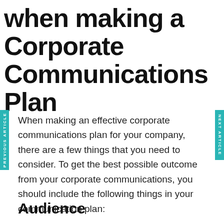when making a Corporate Communications Plan
When making an effective corporate communications plan for your company, there are a few things that you need to consider. To get the best possible outcome from your corporate communications, you should include the following things in your communication plan:
Audience